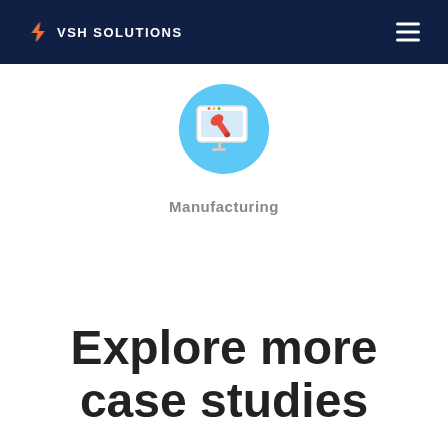VSH SOLUTIONS
[Figure (illustration): Blue circular icon containing a computer monitor with a wrench/screwdriver tool overlay, representing manufacturing or maintenance software]
Manufacturing
Explore more case studies